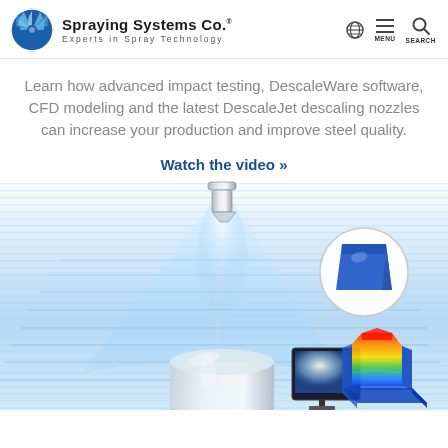Spraying Systems Co. — Experts in Spray Technology
Learn how advanced impact testing, DescaleWare software, CFD modeling and the latest DescaleJet descaling nozzles can increase your production and improve steel quality.
Watch the video »
[Figure (illustration): Marketing illustration showing a descaling spray nozzle spraying a cone of water, with inset graphics showing impact test shape profile, a computer monitor, and a 3D CFD heat-map model of spray impact distribution.]